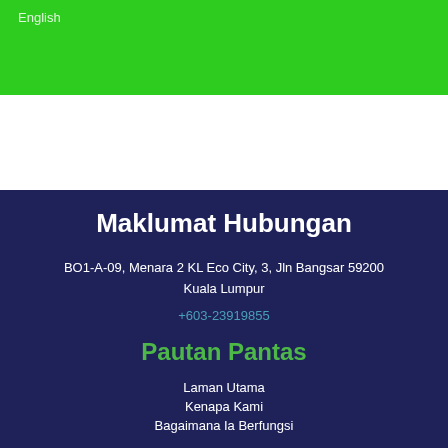English
Maklumat Hubungan
BO1-A-09, Menara 2 KL Eco City, 3, Jln Bangsar 59200 Kuala Lumpur
+603-23919855
Pautan Pantas
Laman Utama
Kenapa Kami
Bagaimana Ia Berfungsi